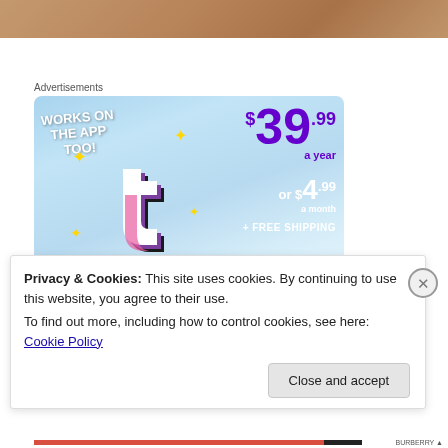[Figure (photo): Top strip showing a blurred brown/tan image, likely a food or table photo]
Advertisements
[Figure (infographic): Tumblr advertisement banner with sky blue background. Text: WORKS ON THE APP TOO! $39.99 a year or $4.99 a month + FREE SHIPPING. Shows Tumblr 't' logo with sparkle stars.]
Privacy & Cookies: This site uses cookies. By continuing to use this website, you agree to their use.
To find out more, including how to control cookies, see here: Cookie Policy
Close and accept